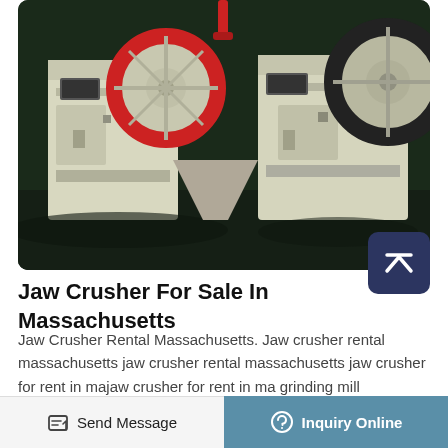[Figure (photo): Photograph of two large industrial jaw crusher machines with red and black flywheels, cream/white painted heavy metal frames, displayed on a dark factory floor.]
Jaw Crusher For Sale In Massachusetts
Jaw Crusher Rental Massachusetts. Jaw crusher rental massachusetts jaw crusher rental massachusetts jaw crusher for rent in majaw crusher for rent in ma grinding mill chinaportable rock crusher rental ma description portable cement crushers for rent in milwaukee jaw
Send Message  |  Inquiry Online